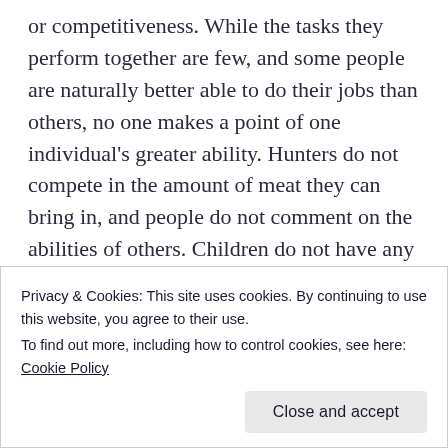or competitiveness. While the tasks they perform together are few, and some people are naturally better able to do their jobs than others, no one makes a point of one individual's greater ability. Hunters do not compete in the amount of meat they can bring in, and people do not comment on the abilities of others. Children do not have any competitiveness in their games. When they spin tops, they leave out the competition that characterizes the Malay top spinning game. They do not have races. But
Privacy & Cookies: This site uses cookies. By continuing to use this website, you agree to their use.
To find out more, including how to control cookies, see here: Cookie Policy